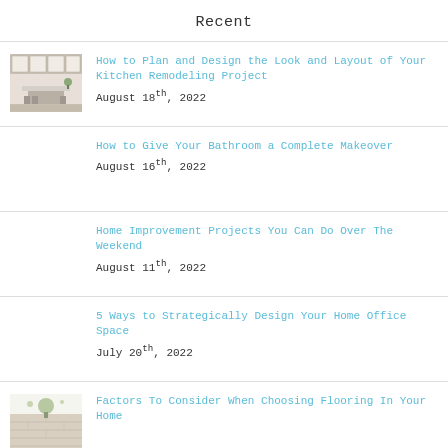Recent
[Figure (photo): Thumbnail photo of a kitchen with white cabinets and island]
How to Plan and Design the Look and Layout of Your Kitchen Remodeling Project
August 18th, 2022
How to Give Your Bathroom a Complete Makeover
August 16th, 2022
Home Improvement Projects You Can Do Over The Weekend
August 11th, 2022
5 Ways to Strategically Design Your Home Office Space
July 20th, 2022
[Figure (photo): Thumbnail photo related to flooring]
Factors To Consider When Choosing Flooring In Your Home